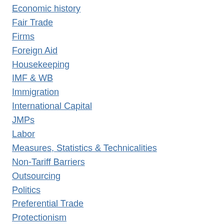Economic history
Fair Trade
Firms
Foreign Aid
Housekeeping
IMF & WB
Immigration
International Capital
JMPs
Labor
Measures, Statistics & Technicalities
Non-Tariff Barriers
Outsourcing
Politics
Preferential Trade
Protectionism
Theory
Trade costs
Uncategorized